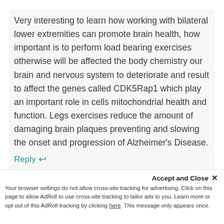Very interesting to learn how working with bilateral lower extremities can promote brain health, how important is to perform load bearing exercises otherwise will be affected the body chemistry our brain and nervous system to deteriorate and result to affect the genes called CDK5Rap1 which play an important role in cells mitochondrial health and function. Legs exercises reduce the amount of damaging brain plaques preventing and slowing the onset and progression of Alzheimer's Disease.
Reply ↩
Accept and Close ✕
Your browser settings do not allow cross-site tracking for advertising. Click on this page to allow AdRoll to use cross-site tracking to tailor ads to you. Learn more or opt out of this AdRoll tracking by clicking here. This message only appears once.